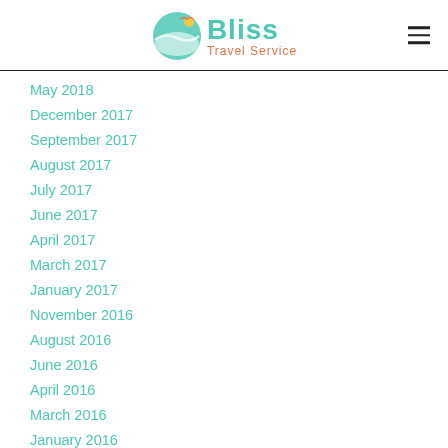Bliss Travel Service
May 2018
December 2017
September 2017
August 2017
July 2017
June 2017
April 2017
March 2017
January 2017
November 2016
August 2016
June 2016
April 2016
March 2016
January 2016
October 2015